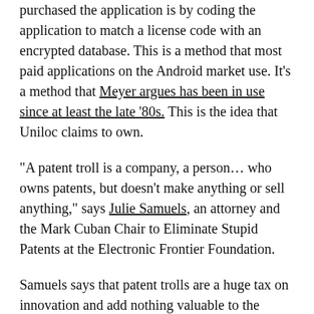purchased the application is by coding the application to match a license code with an encrypted database. This is a method that most paid applications on the Android market use. It's a method that Meyer argues has been in use since at least the late '80s. This is the idea that Uniloc claims to own.
"A patent troll is a company, a person… who owns patents, but doesn't make anything or sell anything," says Julie Samuels, an attorney and the Mark Cuban Chair to Eliminate Stupid Patents at the Electronic Frontier Foundation.
Samuels says that patent trolls are a huge tax on innovation and add nothing valuable to the marketplace. A study out of Boston University estimates the direct economic damage that patent trolls cause to be around $29 billion a year, and this doesn't account for hush-hush, off-the-record settlements. But the bigger problem, says